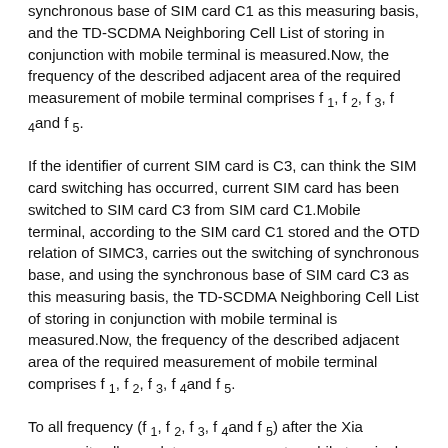synchronous base of SIM card C1 as this measuring basis, and the TD-SCDMA Neighboring Cell List of storing in conjunction with mobile terminal is measured.Now, the frequency of the described adjacent area of the required measurement of mobile terminal comprises f 1, f 2, f 3, f 4and f 5.
If the identifier of current SIM card is C3, can think the SIM card switching has occurred, current SIM card has been switched to SIM card C3 from SIM card C1.Mobile terminal, according to the SIM card C1 stored and the OTD relation of SIMC3, carries out the switching of synchronous base, and using the synchronous base of SIM card C3 as this measuring basis, the TD-SCDMA Neighboring Cell List of storing in conjunction with mobile terminal is measured.Now, the frequency of the described adjacent area of the required measurement of mobile terminal comprises f 1, f 2, f 3, f 4and f 5.
To all frequency (f 1, f 2, f 3, f 4and f 5) after the Xia community all completes measurement, mobile terminal can according to before the Neighboring Cell List of storage and the incidence relation of identifier, obtain the